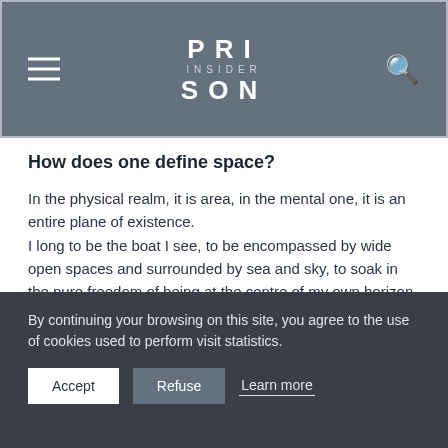PRISON INSIDER
How does one define space?
In the physical realm, it is area, in the mental one, it is an entire plane of existence.
I long to be the boat I see, to be encompassed by wide open spaces and surrounded by sea and sky, to soak in the pure freedom of being at the centre of my own horizon, to have perfect isolation. And yet, I already am.
For I feel and think I am that boat, stranded and alone without another soul to turn to as I scream with desperation into the winds. ‘Hello! Is anyone there?’ To hear only the murmuring of
By continuing your browsing on this site, you agree to the use of cookies used to perform visit statistics.